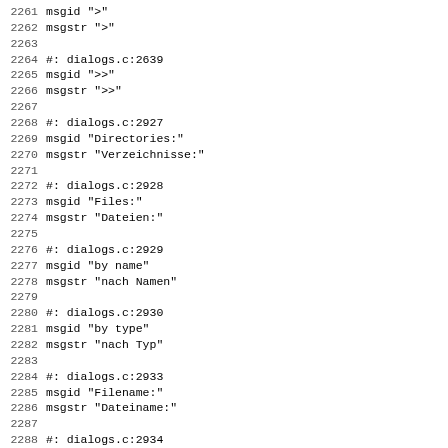2261 msgid ">"
2262 msgstr ">"
2263
2264 #: dialogs.c:2639
2265 msgid ">>"
2266 msgstr ">>"
2267
2268 #: dialogs.c:2927
2269 msgid "Directories:"
2270 msgstr "Verzeichnisse:"
2271
2272 #: dialogs.c:2928
2273 msgid "Files:"
2274 msgstr "Dateien:"
2275
2276 #: dialogs.c:2929
2277 msgid "by name"
2278 msgstr "nach Namen"
2279
2280 #: dialogs.c:2930
2281 msgid "by type"
2282 msgstr "nach Typ"
2283
2284 #: dialogs.c:2933
2285 msgid "Filename:"
2286 msgstr "Dateiname:"
2287
2288 #: dialogs.c:2934
2289 msgid "New directory"
2290 msgstr "Neues Verzeichnis"
2291
2292 #: dialogs.c:2935
2293 msgid "Filter:"